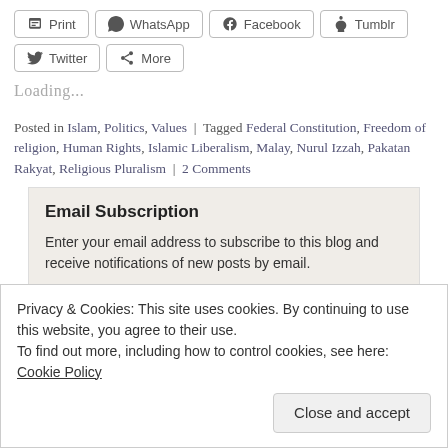[Figure (screenshot): Social sharing buttons: Print, WhatsApp, Facebook, Tumblr, Twitter, More]
Loading...
Posted in Islam, Politics, Values | Tagged Federal Constitution, Freedom of religion, Human Rights, Islamic Liberalism, Malay, Nurul Izzah, Pakatan Rakyat, Religious Pluralism | 2 Comments
Email Subscription
Enter your email address to subscribe to this blog and receive notifications of new posts by email.
Privacy & Cookies: This site uses cookies. By continuing to use this website, you agree to their use.
To find out more, including how to control cookies, see here: Cookie Policy